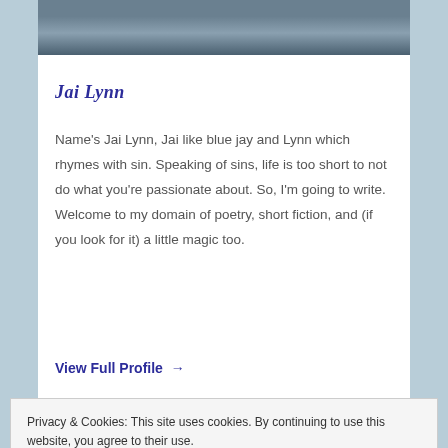[Figure (photo): Partial photo of a person outdoors, cropped at top]
Jai Lynn
Name's Jai Lynn, Jai like blue jay and Lynn which rhymes with sin. Speaking of sins, life is too short to not do what you're passionate about. So, I'm going to write. Welcome to my domain of poetry, short fiction, and (if you look for it) a little magic too.
View Full Profile →
Privacy & Cookies: This site uses cookies. By continuing to use this website, you agree to their use.
To find out more, including how to control cookies, see here: Cookie Policy
Close and accept